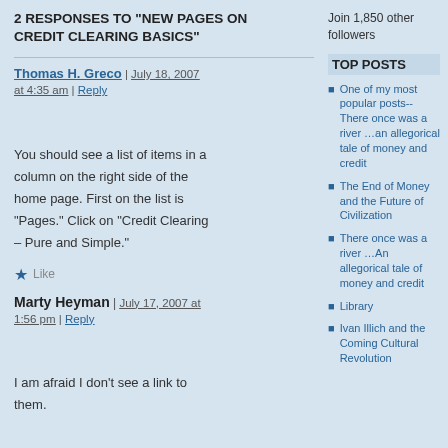2 RESPONSES TO "NEW PAGES ON CREDIT CLEARING BASICS"
Thomas H. Greco | July 18, 2007 at 4:35 am | Reply
You should see a list of items in a column on the right side of the home page. First on the list is "Pages." Click on "Credit Clearing – Pure and Simple."
Like
Marty Heyman | July 17, 2007 at 1:56 pm | Reply
I am afraid I don't see a link to them.
Join 1,850 other followers
TOP POSTS
One of my most popular posts--There once was a river …an allegorical tale of money and credit
The End of Money and the Future of Civilization
There once was a river …An allegorical tale of money and credit
Library
Ivan Illich and the Coming Cultural Revolution